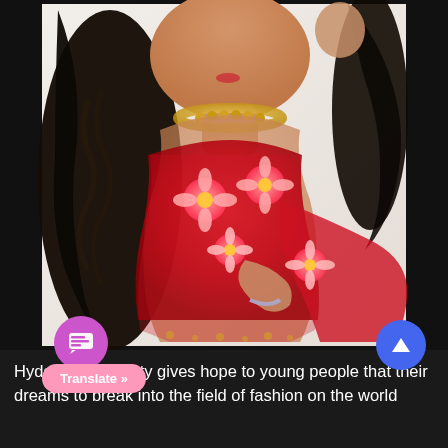[Figure (photo): A young woman wearing a red embroidered sheer saree/dress with 3D floral appliqués in pink, a gold choker necklace, and a bracelet. She has long wavy black hair, poses against a white background with hands raised near face.]
Hyderabadi beauty gives hope to young people that their dreams to break into the field of fashion on the world